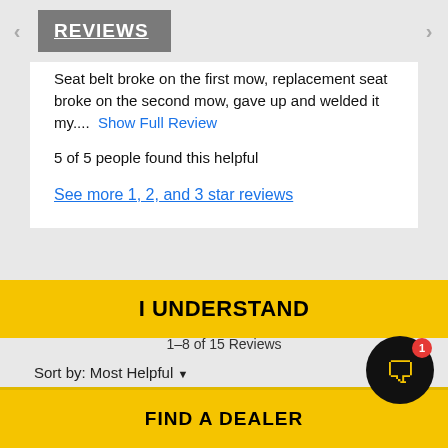REVIEWS
Seat belt broke on the first mow, replacement seat broke on the second mow, gave up and welded it my.... Show Full Review
5 of 5 people found this helpful
See more 1, 2, and 3 star reviews
1–8 of 15 Reviews
Sort by: Most Helpful
I UNDERSTAND
FIND A DEALER